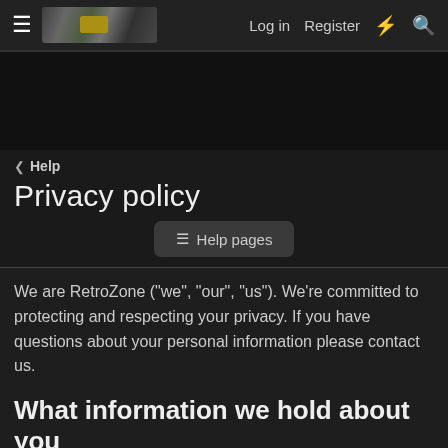☰  [logo]  Log in  Register  ⚡  🔍
[Figure (other): Dark banner image area]
< Help
Privacy policy
≡ Help pages
We are RetroZone ("we", "our", "us"). We're committed to protecting and respecting your privacy. If you have questions about your personal information please contact us.
What information we hold about you
The type of data that we collect and process includes:
Your name or username.